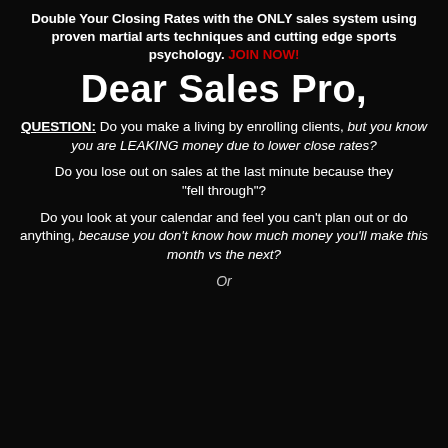Double Your Closing Rates with the ONLY sales system using proven martial arts techniques and cutting edge sports psychology. JOIN NOW!
Dear Sales Pro,
QUESTION: Do you make a living by enrolling clients, but you know you are LEAKING money due to lower close rates?
Do you lose out on sales at the last minute because they "fell through"?
Do you look at your calendar and feel you can't plan out or do anything, because you don't know how much money you'll make this month vs the next?
Or